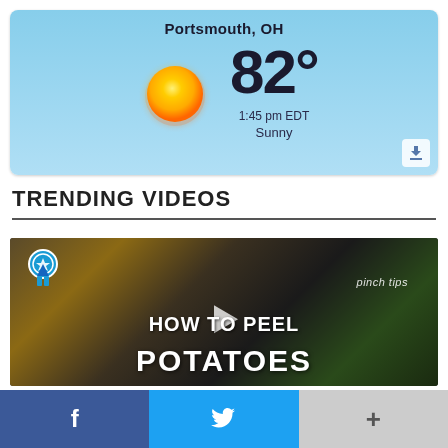[Figure (screenshot): Weather widget showing Portsmouth, OH with sunny conditions, 82 degrees, 1:45 pm EDT]
TRENDING VIDEOS
[Figure (screenshot): Video thumbnail for 'pinch tips HOW TO PEEL POTATOES' with play button overlay and ribbon badge]
[Figure (infographic): Social sharing bar with Facebook (blue), Twitter (light blue), and More (+) buttons]